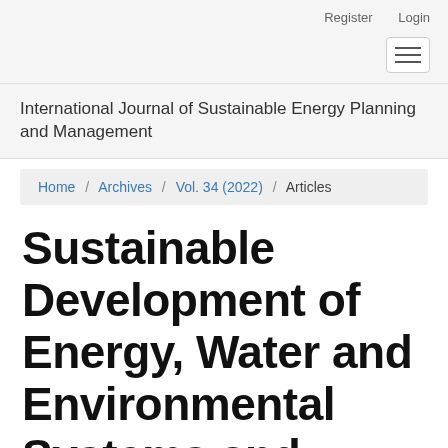Register   Login
International Journal of Sustainable Energy Planning and Management
Home / Archives / Vol. 34 (2022) / Articles
Sustainable Development of Energy, Water and Environmental Systems and Smart Energy Sy…